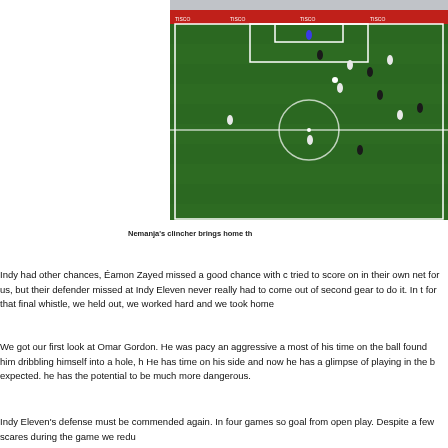[Figure (photo): Aerial view of a soccer/football match on a green pitch with white lines, players visible, stadium setting with red advertising boards]
Nemanja's clincher brings home th
Indy had other chances, Éamon Zayed missed a good chance with c tried to score on in their own net for us, but their defender missed at Indy Eleven never really had to come out of second gear to do it. In t for that final whistle, we held out, we worked hard and we took home
We got our first look at Omar Gordon. He was pacy an aggressive a most of his time on the ball found him dribbling himself into a hole, h He has time on his side and now he has a glimpse of playing in the b expected. he has the potential to be much more dangerous.
Indy Eleven's defense must be commended again. In four games so goal from open play. Despite a few scares during the game we redu